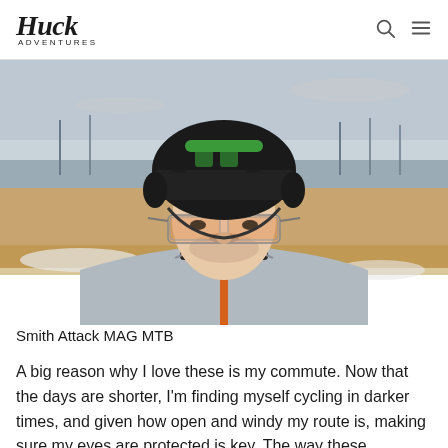Huck Adventures
[Figure (photo): Close-up photo of a man wearing a black and green mountain bike helmet, orange beanie, orange-tinted safety/sports glasses, and a gray cycling jacket with orange accents, standing outdoors in a winter landscape with bare trees and snow-dusted ground in the background.]
Smith Attack MAG MTB
A big reason why I love these is my commute. Now that the days are shorter, I'm finding myself cycling in darker times, and given how open and windy my route is, making sure my eyes are protected is key. The way these